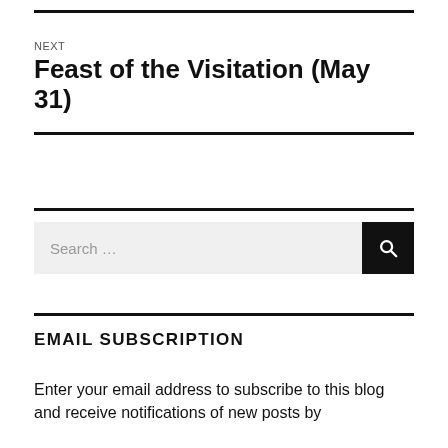NEXT
Feast of the Visitation (May 31)
Search …
EMAIL SUBSCRIPTION
Enter your email address to subscribe to this blog and receive notifications of new posts by